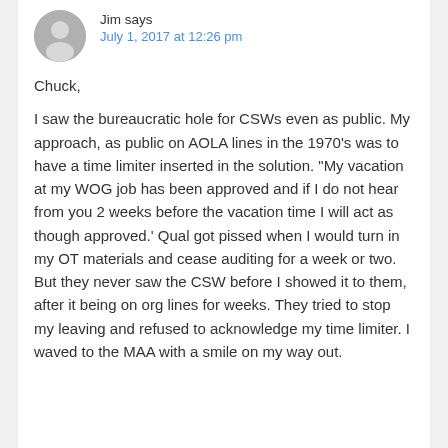Jim says
July 1, 2017 at 12:26 pm
Chuck,

I saw the bureaucratic hole for CSWs even as public. My approach, as public on AOLA lines in the 1970’s was to have a time limiter inserted in the solution. “My vacation at my WOG job has been approved and if I do not hear from you 2 weeks before the vacation time I will act as though approved.’ Qual got pissed when I would turn in my OT materials and cease auditing for a week or two. But they never saw the CSW before I showed it to them, after it being on org lines for weeks. They tried to stop my leaving and refused to acknowledge my time limiter. I waved to the MAA with a smile on my way out.